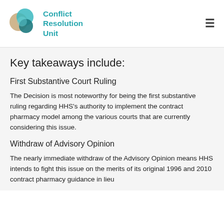[Figure (logo): Conflict Resolution Unit logo — two overlapping circles (teal and tan/gold) forming a Venn diagram shape, with teal and navy accents]
Conflict Resolution Unit
Key takeaways include:
First Substantive Court Ruling
The Decision is most noteworthy for being the first substantive ruling regarding HHS's authority to implement the contract pharmacy model among the various courts that are currently considering this issue.
Withdraw of Advisory Opinion
The nearly immediate withdraw of the Advisory Opinion means HHS intends to fight this issue on the merits of its original 1996 and 2010 contract pharmacy guidance in lieu